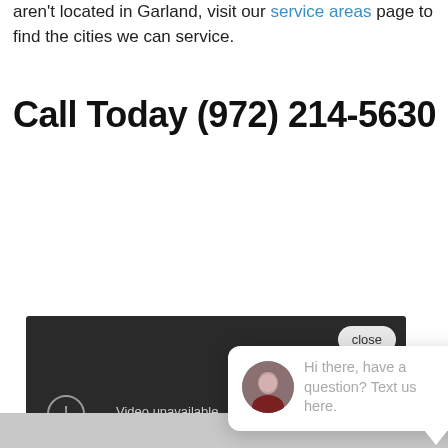aren't located in Garland, visit our service areas page to find the cities we can service.
Call Today (972) 214-5630
[Figure (screenshot): Embedded video player showing 'Video unavailable' error with a chat popup overlay saying 'Hi there, have a question? Text us here.' and a blue chat icon button in the bottom right.]